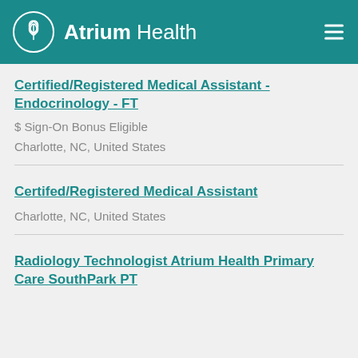Atrium Health
Certified/Registered Medical Assistant - Endocrinology - FT
$ Sign-On Bonus Eligible
Charlotte, NC, United States
Certifed/Registered Medical Assistant
Charlotte, NC, United States
Radiology Technologist Atrium Health Primary Care SouthPark PT